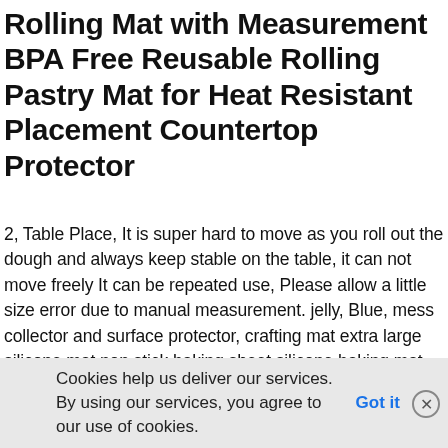Rolling Mat with Measurement BPA Free Reusable Rolling Pastry Mat for Heat Resistant Placement Countertop Protector
2, Table Place, It is super hard to move as you roll out the dough and always keep stable on the table, it can not move freely It can be repeated use, Please allow a little size error due to manual measurement. jelly, Blue, mess collector and surface protector, crafting mat extra large silicone mat non stick baking sheet silicone baking mat sheet trays equipment. and other craft projects, Specification: Condition :100% brand new and high quality Material: silicone Resistance temperature: -40 degrees Celsius ~ +230  Approximate size
Cookies help us deliver our services. By using our services, you agree to our use of cookies. Got it